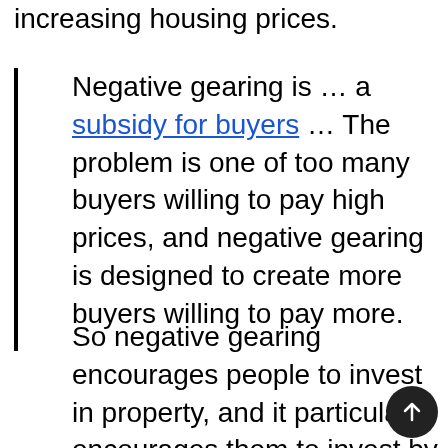increasing housing prices.
Negative gearing is … a subsidy for buyers … The problem is one of too many buyers willing to pay high prices, and negative gearing is designed to create more buyers willing to pay more.
So negative gearing encourages people to invest in property, and it particularly encourages them to invest by borrowing most of the price of the house … This is a very odd kind of housing and investment policy, seemingly designed to encourage people to over-extend and expose